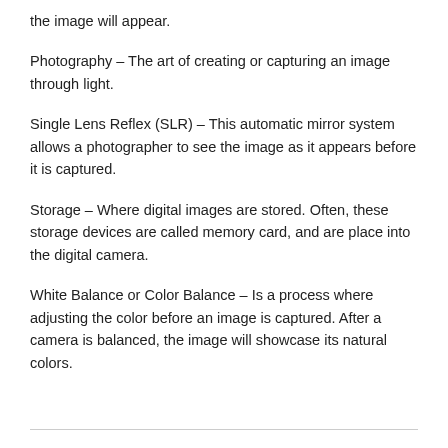the image will appear.
Photography – The art of creating or capturing an image through light.
Single Lens Reflex (SLR) – This automatic mirror system allows a photographer to see the image as it appears before it is captured.
Storage – Where digital images are stored. Often, these storage devices are called memory card, and are place into the digital camera.
White Balance or Color Balance – Is a process where adjusting the color before an image is captured. After a camera is balanced, the image will showcase its natural colors.